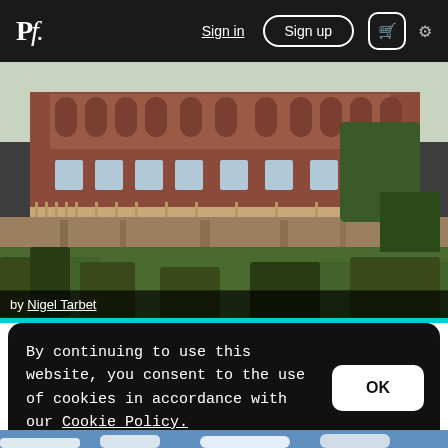Pf. | Sign in | Sign up | Cart | Settings
[Figure (photo): Exterior view of a large red-brick country house or manor with arched colonnades on the upper level and a balustrade terrace, surrounded by bare winter shrubs and trees on a grassy hillside]
by Nigel Tarbet
By continuing to use this website, you consent to the use of cookies in accordance with our Cookie Policy.